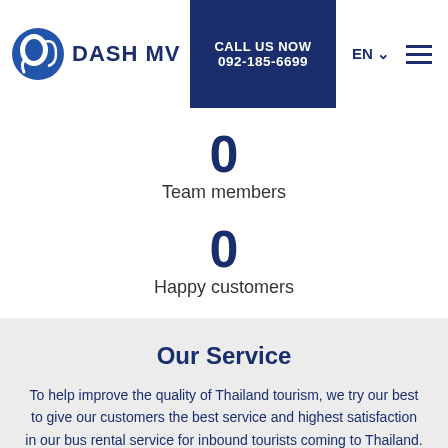DASH MV | CALL US NOW 092-185-6699 | EN
0
Team members
0
Happy customers
Our Service
To help improve the quality of Thailand tourism, we try our best to give our customers the best service and highest satisfaction in our bus rental service for inbound tourists coming to Thailand.